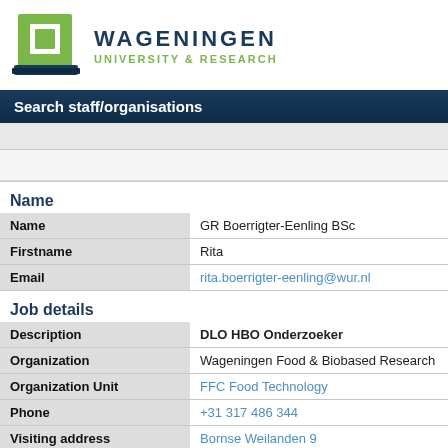[Figure (logo): Wageningen University & Research logo with green square icon and dark blue text]
Search staff/organisations
Name
| Field | Value |
| --- | --- |
| Name | GR Boerrigter-Eenling BSc |
| Firstname | Rita |
| Email | rita.boerrigter-eenling@wur.nl |
Job details
| Field | Value |
| --- | --- |
| Description | DLO HBO Onderzoeker |
| Organization | Wageningen Food & Biobased Research |
| Organization Unit | FFC Food Technology |
| Phone | +31 317 486 344 |
| Visiting address | Bornse Weilanden 9
6708WG, WAGENINGEN |
| Building/Room | 118/Y2013 |